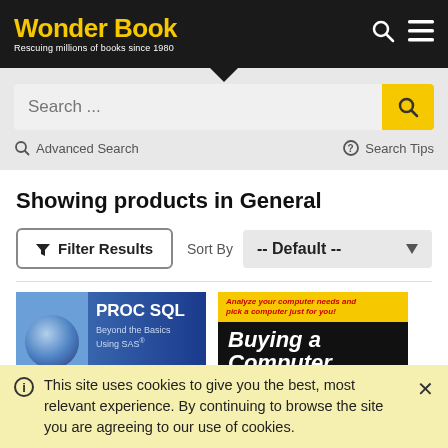Wonder Book — Rescuing millions of books since 1980
Search ...
Advanced Search   Search Tips
Showing products in General
Filter Results   Sort By -- Default --
[Figure (photo): Book cover: PROC SQL Beyond the Basics Using SAS]
[Figure (photo): Book cover: Buying a Computer]
This site uses cookies to give you the best, most relevant experience. By continuing to browse the site you are agreeing to our use of cookies.